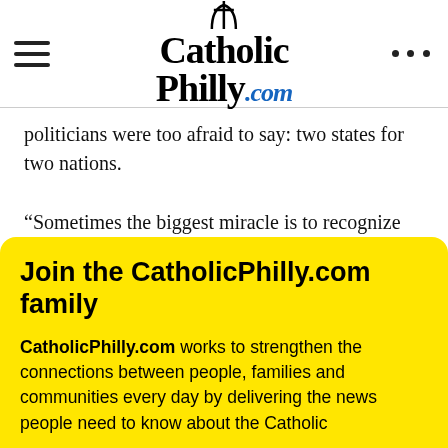CatholicPhilly.com
politicians were too afraid to say: two states for two nations.
“Sometimes the biggest miracle is to recognize that the world can change,” said Obama.
Join the CatholicPhilly.com family
CatholicPhilly.com works to strengthen the connections between people, families and communities every day by delivering the news people need to know about the Catholic